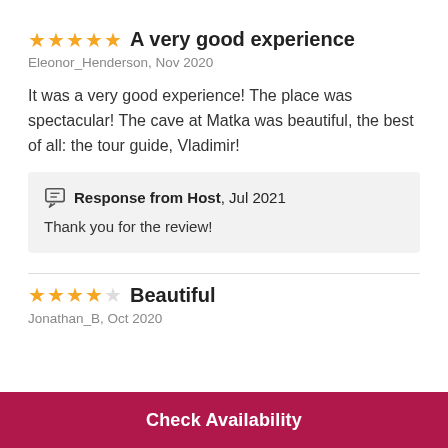★★★★★ A very good experience
Eleonor_Henderson, Nov 2020
It was a very good experience! The place was spectacular! The cave at Matka was beautiful, the best of all: the tour guide, Vladimir!
Response from Host, Jul 2021
Thank you for the review!
★★★★☆ Beautiful
Jonathan_B, Oct 2020
Check Availability